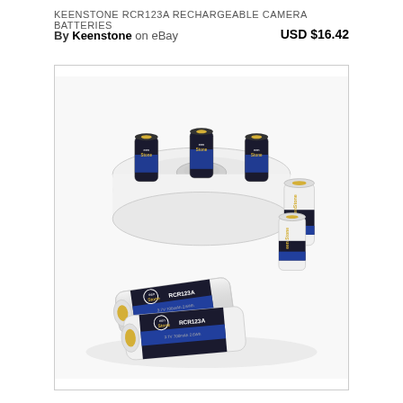KEENSTONE RCR123A RECHARGEABLE CAMERA BATTERIES
By Keenstone on eBay
USD $16.42
[Figure (photo): Keenstone RCR123A rechargeable camera batteries — multiple cylindrical batteries labeled 'RCR123A 3.7V 700mAh' with blue and black branding, arranged around a circular white charging dock/holder, shown on a white background.]